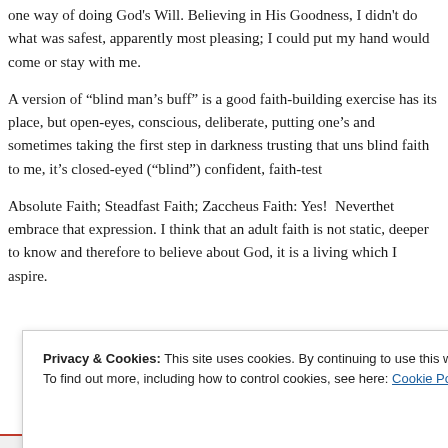one way of doing God's Will. Believing in His Goodness, I didn't do what was safest, apparently most pleasing; I could put my hand would come or stay with me.
A version of “blind man’s buff” is a good faith-building exercise has its place, but open-eyes, conscious, deliberate, putting one’s and sometimes taking the first step in darkness trusting that uns blind faith to me, it’s closed-eyed (“blind”) confident, faith-test
Absolute Faith; Steadfast Faith; Zaccheus Faith: Yes! Neverthel embrace that expression. I think that an adult faith is not static, deeper to know and therefore to believe about God, it is a living which I aspire.
Privacy & Cookies: This site uses cookies. By continuing to use this website, you agree to their use.
To find out more, including how to control cookies, see here: Cookie Policy
Close and accept